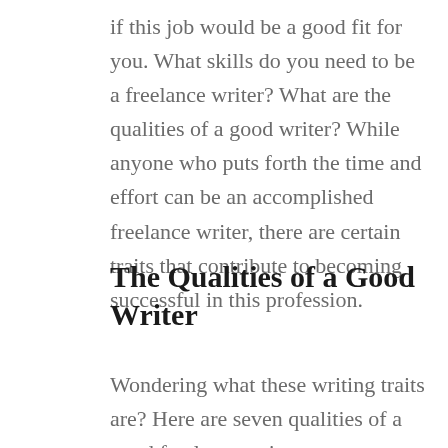if this job would be a good fit for you. What skills do you need to be a freelance writer? What are the qualities of a good writer? While anyone who puts forth the time and effort can be an accomplished freelance writer, there are certain traits that contribute to becoming successful in this profession.
The Qualities of a Good Writer
Wondering what these writing traits are? Here are seven qualities of a good freelance writer.